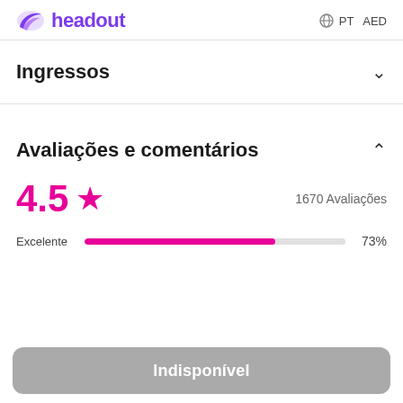headout   PT  AED
Ingressos
Avaliações e comentários
4.5 ★   1670 Avaliações
Excelente   73%
Indisponível